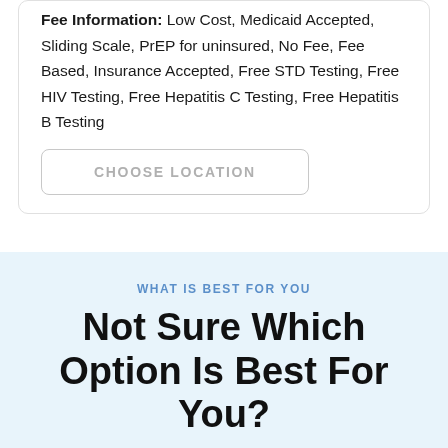Fee Information: Low Cost, Medicaid Accepted, Sliding Scale, PrEP for uninsured, No Fee, Fee Based, Insurance Accepted, Free STD Testing, Free HIV Testing, Free Hepatitis C Testing, Free Hepatitis B Testing
CHOOSE LOCATION
WHAT IS BEST FOR YOU
Not Sure Which Option Is Best For You?
Let us point you in the right direction for STD